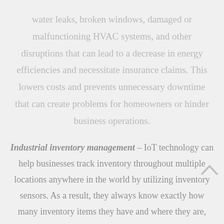water leaks, broken windows, damaged or malfunctioning HVAC systems, and other disruptions that can lead to a decrease in energy efficiencies and necessitate insurance claims. This lowers costs and prevents unnecessary downtime that can create problems for homeowners or hinder business operations.
Industrial inventory management – IoT technology can help businesses track inventory throughout multiple locations anywhere in the world by utilizing inventory sensors. As a result, they always know exactly how many inventory items they have and where they are,